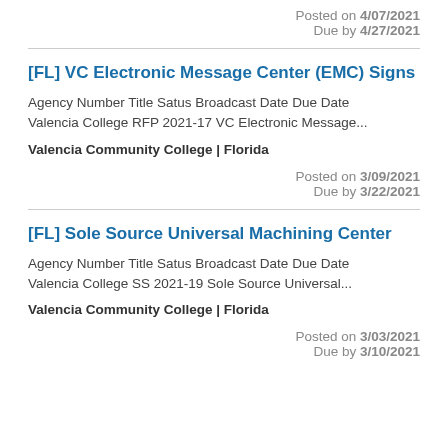Valencia Community College | Florida
Posted on 4/07/2021
Due by 4/27/2021
[FL] VC Electronic Message Center (EMC) Signs
Agency Number Title Satus Broadcast Date Due Date Valencia College RFP 2021-17 VC Electronic Message...
Valencia Community College | Florida
Posted on 3/09/2021
Due by 3/22/2021
[FL] Sole Source Universal Machining Center
Agency Number Title Satus Broadcast Date Due Date Valencia College SS 2021-19 Sole Source Universal...
Valencia Community College | Florida
Posted on 3/03/2021
Due by 3/10/2021